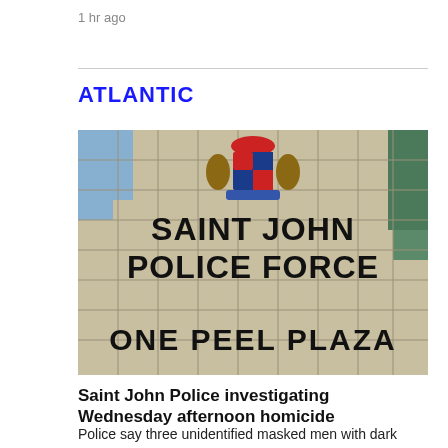1 hr ago
ATLANTIC
[Figure (photo): Exterior of Saint John Police Force building at One Peel Plaza, showing a stone-tiled wall with the police crest/coat of arms above large bold text reading SAINT JOHN POLICE FORCE and ONE PEEL PLAZA]
Saint John Police investigating Wednesday afternoon homicide
Police say three unidentified masked men with dark clothing forced their way into an apartment where 30-year-old Justin